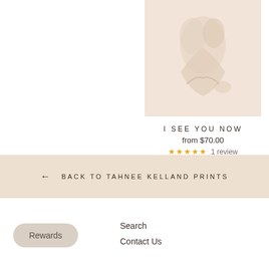[Figure (photo): Product image of artwork print with soft cream/beige tones showing abstract figure forms]
I SEE YOU NOW
from $70.00
★★★★★  1 review
← BACK TO TAHNEE KELLAND PRINTS
Rewards
Search
Contact Us